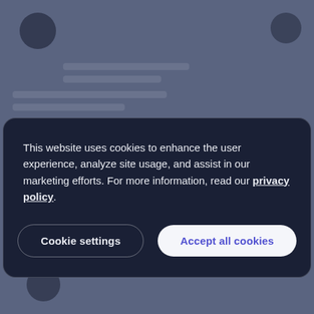[Figure (screenshot): Blurred website background showing dark blue-grey interface with avatar circles and content placeholders]
This website uses cookies to enhance the user experience, analyze site usage, and assist in our marketing efforts. For more information, read our privacy policy.
Cookie settings
Accept all cookies